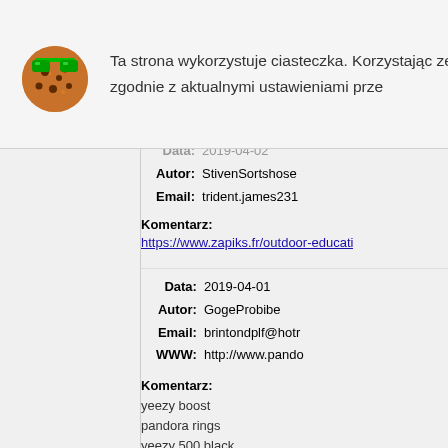[Figure (illustration): Cookie emoji with sunglasses]
Ta strona wykorzystuje ciasteczka. Korzystając ze str zgodnie z aktualnymi ustawieniami prze
Komentarz:
Data: 2019-04-02
Autor: StivenSortshose
Email: trident.james231
Komentarz:
https://www.zapiks.fr/outdoor-educati
Data: 2019-04-01
Autor: GogeProbibe
Email: brintondplf@hotr
WWW: http://www.pando
Komentarz:
yeezy boost
pandora rings
yeezy 500 black
pandora akce
yeezy hyperspace
hogan
yeezy boost
yeezy boost 350 v2
yeezy 700 wave runner
pandora cz
yeezy boost 350 v2 static
pandora bijoux
pandora
adidas yeezy boost 350 v2
pandora jewelry
yeezy 350 static
adidas yeezy
yeezy butters
yeezy boost 350 v2 sesame
yeezy boost 350
yeezy 350 clay
pandora